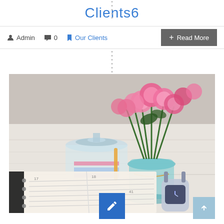Clients6
Admin  0  Our Clients
+ Read More
[Figure (photo): A desk scene with an open planner/agenda notebook, a glass jar filled with colorful candy or craft items, a glass vase with pink carnation flowers, and a smartwatch on the right side. The scene is on a white wooden surface.]
[Figure (other): Blue square edit/pencil button overlay at bottom center]
[Figure (other): Light blue square scroll-to-top arrow button at bottom right]